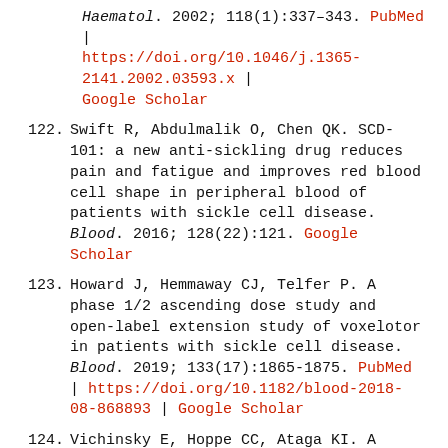[continuation] Haematol. 2002; 118(1):337-343. PubMed | https://doi.org/10.1046/j.1365-2141.2002.03593.x | Google Scholar
122. Swift R, Abdulmalik O, Chen QK. SCD-101: a new anti-sickling drug reduces pain and fatigue and improves red blood cell shape in peripheral blood of patients with sickle cell disease. Blood. 2016; 128(22):121. Google Scholar
123. Howard J, Hemmaway CJ, Telfer P. A phase 1/2 ascending dose study and open-label extension study of voxelotor in patients with sickle cell disease. Blood. 2019; 133(17):1865-1875. PubMed | https://doi.org/10.1182/blood-2018-08-868893 | Google Scholar
124. Vichinsky E, Hoppe CC, Ataga KI. A phase 3 randomized trial of voxelotor in sickle cell disease. N Engl J Med. 2019. Google Scholar
125. Watchmaker JM, Juttukonda MR, Davis LT. ...